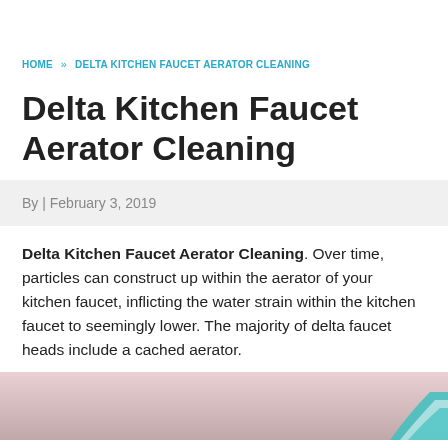HOME » DELTA KITCHEN FAUCET AERATOR CLEANING
Delta Kitchen Faucet Aerator Cleaning
By | February 3, 2019
Delta Kitchen Faucet Aerator Cleaning. Over time, particles can construct up within the aerator of your kitchen faucet, inflicting the water strain within the kitchen faucet to seemingly lower. The majority of delta faucet heads include a cached aerator.
[Figure (photo): Partial photo of a faucet aerator or related plumbing component, partially visible at the bottom of the page with pink/purple blurred background and teal circular element on the right.]